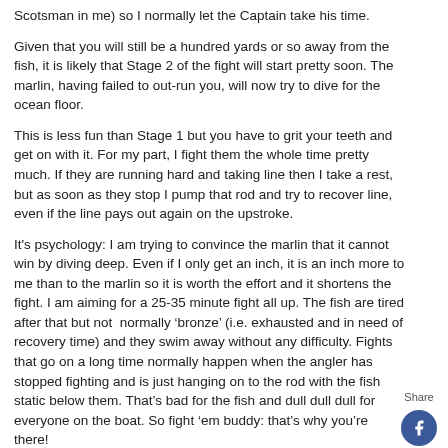Scotsman in me) so I normally let the Captain take his time.
Given that you will still be a hundred yards or so away from the fish, it is likely that Stage 2 of the fight will start pretty soon. The marlin, having failed to out-run you, will now try to dive for the ocean floor.
This is less fun than Stage 1 but you have to grit your teeth and get on with it. For my part, I fight them the whole time pretty much. If they are running hard and taking line then I take a rest, but as soon as they stop I pump that rod and try to recover line, even if the line pays out again on the upstroke.
It's psychology: I am trying to convince the marlin that it cannot win by diving deep. Even if I only get an inch, it is an inch more to me than to the marlin so it is worth the effort and it shortens the fight. I am aiming for a 25-35 minute fight all up. The fish are tired after that but not  normally ‘bronze’ (i.e. exhausted and in need of recovery time) and they swim away without any difficulty. Fights that go on a long time normally happen when the angler has stopped fighting and is just hanging on to the rod with the fish static below them. That’s bad for the fish and dull dull dull for everyone on the boat. So fight ‘em buddy: that’s why you’re there!